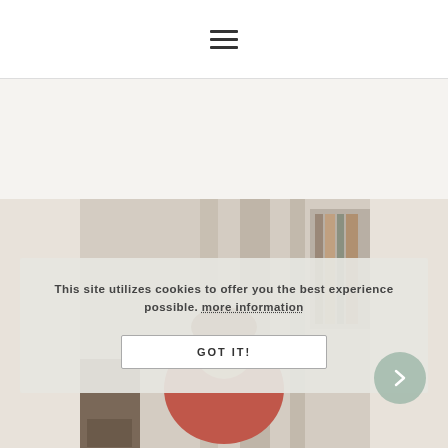≡ (hamburger menu icon)
[Figure (photo): A person in a red sweater sitting at a wooden desk in a bright room with bookshelves, partially visible behind the cookie consent overlay.]
This site utilizes cookies to offer you the best experience possible. more information
GOT IT!